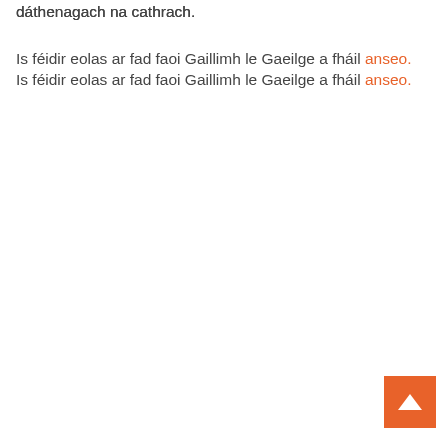dáthenagach na cathrach.
Is féidir eolas ar fad faoi Gaillimh le Gaeilge a fháil anseo.